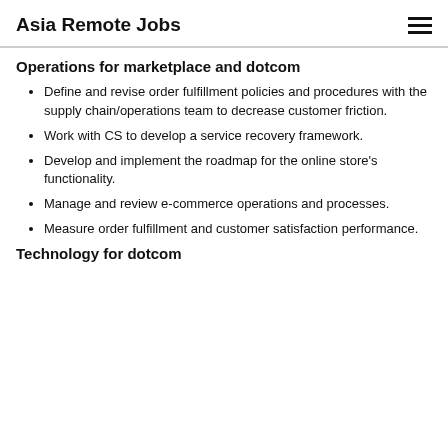Asia Remote Jobs
Operations for marketplace and dotcom
Define and revise order fulfillment policies and procedures with the supply chain/operations team to decrease customer friction.
Work with CS to develop a service recovery framework.
Develop and implement the roadmap for the online store's functionality.
Manage and review e-commerce operations and processes.
Measure order fulfillment and customer satisfaction performance.
Technology for dotcom